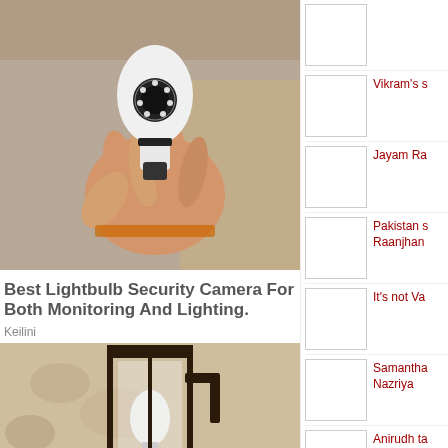[Figure (photo): A hand holding a white lightbulb-shaped security camera with LED ring, shown against a cardboard box background]
Best Lightbulb Security Camera For Both Monitoring And Lighting.
Keilini
[Figure (photo): A white lightbulb-shaped security camera installed in a black outdoor wall lantern fixture]
Vikram's s
Jayam Ra
Pakistan s Raanjhan
It's not Va
Samantha Nazriya
Anirudh ta for Venka